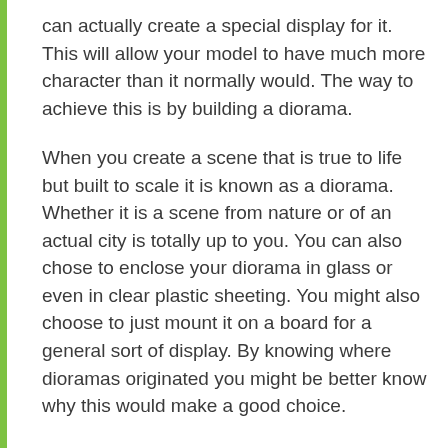can actually create a special display for it. This will allow your model to have much more character than it normally would. The way to achieve this is by building a diorama.
When you create a scene that is true to life but built to scale it is known as a diorama. Whether it is a scene from nature or of an actual city is totally up to you. You can also chose to enclose your diorama in glass or even in clear plastic sheeting. You might also choose to just mount it on a board for a general sort of display. By knowing where dioramas originated you might be better know why this would make a good choice.
A part of history, dioramas have been around for centuries. They have always been used as a means of reproducing actual scenes that have been scaled down. Museums use them now to be able to create displays showing historical scenes. People have been using